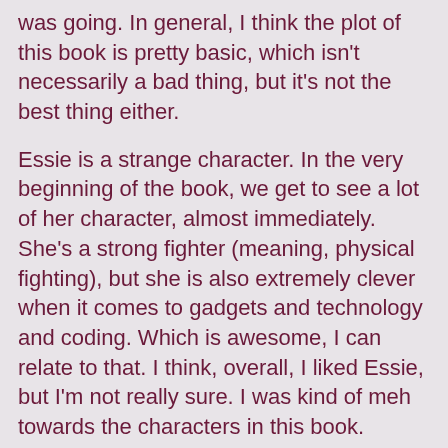was going. In general, I think the plot of this book is pretty basic, which isn't necessarily a bad thing, but it's not the best thing either.
Essie is a strange character. In the very beginning of the book, we get to see a lot of her character, almost immediately. She's a strong fighter (meaning, physical fighting), but she is also extremely clever when it comes to gadgets and technology and coding. Which is awesome, I can relate to that. I think, overall, I liked Essie, but I'm not really sure. I was kind of meh towards the characters in this book.
For those wondering, yes, there is romance in this book, and no, there is no love triangle. I liked the romance, even if it was a bit weird at first, and everything ended all happy and perfect. There definitely could have been more physical scenes between Essie and Dane, given the nature of their condition. But...